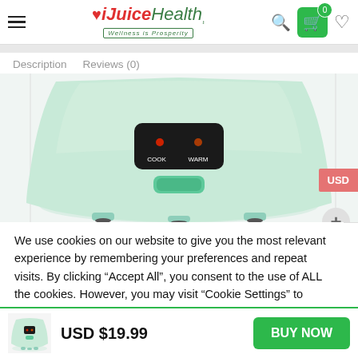[Figure (screenshot): iJuiceHealth website header with hamburger menu, logo with heart icon, search icon, cart button with 0 badge, and heart/wishlist icon]
Description   Reviews (0)
[Figure (photo): Close-up of a light mint green rice cooker showing the control panel with COOK and WARM labels and a button, and rubber feet at the bottom]
We use cookies on our website to give you the most relevant experience by remembering your preferences and repeat visits. By clicking “Accept All”, you consent to the use of ALL the cookies. However, you may visit “Cookie Settings” to provide a controlled consent.
[Figure (photo): Small thumbnail of the mint green rice cooker]
USD $19.99
BUY NOW